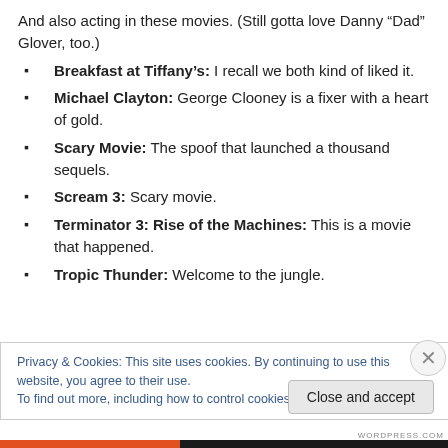And also acting in these movies. (Still gotta love Danny “Dad” Glover, too.)
Breakfast at Tiffany’s: I recall we both kind of liked it.
Michael Clayton: George Clooney is a fixer with a heart of gold.
Scary Movie: The spoof that launched a thousand sequels.
Scream 3: Scary movie.
Terminator 3: Rise of the Machines: This is a movie that happened.
Tropic Thunder: Welcome to the jungle.
Privacy & Cookies: This site uses cookies. By continuing to use this website, you agree to their use. To find out more, including how to control cookies, see here: Cookie Policy
Close and accept